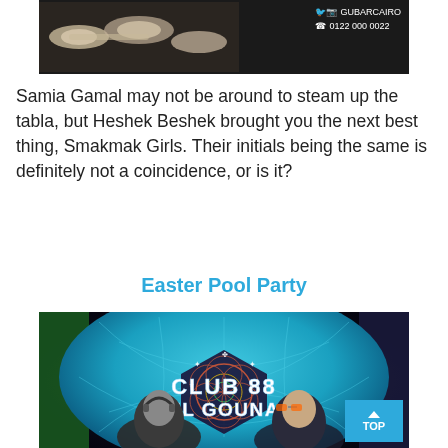[Figure (photo): Dark banner image showing what appears to be bones or similar objects, with social media icons and contact info overlay: GUBARCAIRO, 0122 000 0022]
Samia Gamal may not be around to steam up the tabla, but Heshek Beshek brought you the next best thing, Smakmak Girls. Their initials being the same is definitely not a coincidence, or is it?
Easter Pool Party
[Figure (photo): Event promotional image for Club 88 El Gouna showing two men (DJs) against a colorful geometric background with text CLUB 88 EL GOUNA]